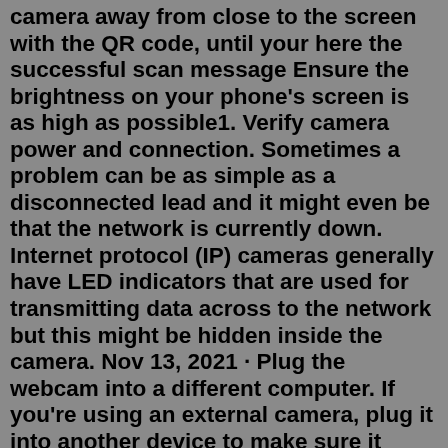camera away from close to the screen with the QR code, until your here the successful scan message Ensure the brightness on your phone's screen is as high as possible1. Verify camera power and connection. Sometimes a problem can be as simple as a disconnected lead and it might even be that the network is currently down. Internet protocol (IP) cameras generally have LED indicators that are used for transmitting data across to the network but this might be hidden inside the camera. Nov 13, 2021 · Plug the webcam into a different computer. If you're using an external camera, plug it into another device to make sure it works. If you have problems with it on several computers, the problem is with the webcam. Check the device connection. Jiggling the cable or unplugging and plugging it back in can sometimes fix the problem. Vivint troubleshooting is simple and only takes a few minutes. Here are some common problems that happen to this security system and how to fix them. ... Tap Delete camera. Unplug the camera from the wall if it has a cord. Press and hold the top